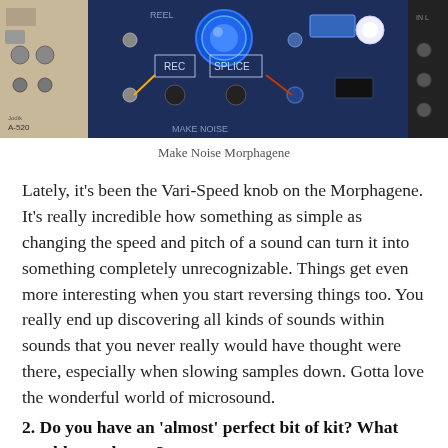[Figure (photo): Close-up photo of a Make Noise Morphagene Eurorack module showing knobs, buttons labeled REC and SPLICE, patch cables, and blue LED lighting on a dark blue panel. Other modules visible to sides including one labeled A-520.]
Make Noise Morphagene
Lately, it’s been the Vari-Speed knob on the Morphagene. It’s really incredible how something as simple as changing the speed and pitch of a sound can turn it into something completely unrecognizable. Things get even more interesting when you start reversing things too. You really end up discovering all kinds of sounds within sounds that you never really would have thought were there, especially when slowing samples down. Gotta love the wonderful world of microsound.
2. Do you have an ‘almost’ perfect bit of kit? What would you change?